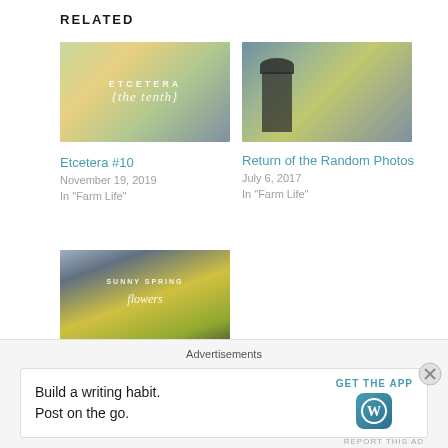RELATED
[Figure (photo): Farm landscape photo with overlaid text 'ETCETERA' and script text, warm golden light]
Etcetera #10
November 19, 2019
In "Farm Life"
[Figure (photo): Farm scene with silo/barn silhouette against golden sky]
Return of the Random Photos
July 6, 2017
In "Farm Life"
[Figure (photo): Yellow spring flowers (daffodils) with overlaid text 'SUNNY SPRING' and script text]
Sunny Spring Flower Photography
Advertisements
Build a writing habit.
Post on the go.
GET THE APP